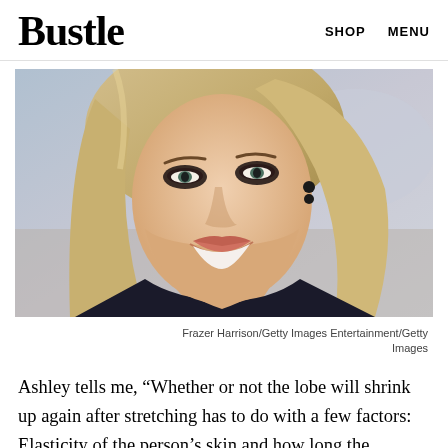Bustle  SHOP  MENU
[Figure (photo): Close-up portrait of a smiling blonde woman with dramatic dark eye makeup and small dark earrings, taken at a red carpet or entertainment event.]
Frazer Harrison/Getty Images Entertainment/Getty Images
Ashley tells me, “Whether or not the lobe will shrink up again after stretching has to do with a few factors: Elasticity of the person’s skin and how long the